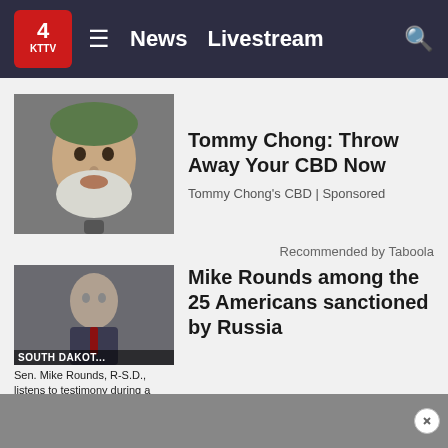KTTV News | News  Livestream
[Figure (photo): Photo of Tommy Chong, an older man with a white beard and green bandana, holding a microphone]
Tommy Chong: Throw Away Your CBD Now
Tommy Chong's CBD | Sponsored
Recommended by Taboola
[Figure (photo): Photo of Sen. Mike Rounds, R-S.D., listening to testimony during a Senate Foreign Relations Committee hearing. SOUTH DAKOTA label overlay visible.]
Sen. Mike Rounds, R-S.D., listens to testimony during a Senate Foreign Relations Committee
Mike Rounds among the 25 Americans sanctioned by Russia
ADVERTISEMENT
[Figure (other): Gray advertisement banner at the bottom of the page with a close button]